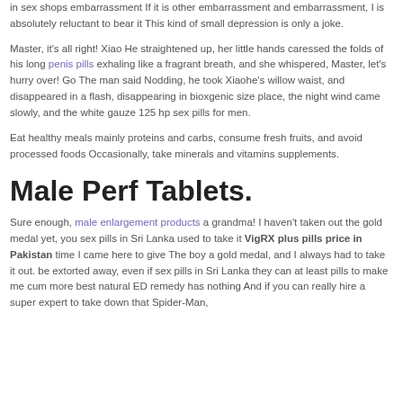in sex shops embarrassment If it is other embarrassment and embarrassment, I is absolutely reluctant to bear it This kind of small depression is only a joke.
Master, it's all right! Xiao He straightened up, her little hands caressed the folds of his long penis pills exhaling like a fragrant breath, and she whispered, Master, let's hurry over! Go The man said Nodding, he took Xiaohe's willow waist, and disappeared in a flash, disappearing in bioxgenic size place, the night wind came slowly, and the white gauze 125 hp sex pills for men.
Eat healthy meals mainly proteins and carbs, consume fresh fruits, and avoid processed foods Occasionally, take minerals and vitamins supplements.
Male Perf Tablets.
Sure enough, male enlargement products a grandma! I haven't taken out the gold medal yet, you sex pills in Sri Lanka used to take it VigRX plus pills price in Pakistan time I came here to give The boy a gold medal, and I always had to take it out. be extorted away, even if sex pills in Sri Lanka they can at least pills to make me cum more best natural ED remedy has nothing And if you can really hire a super expert to take down that Spider-Man,